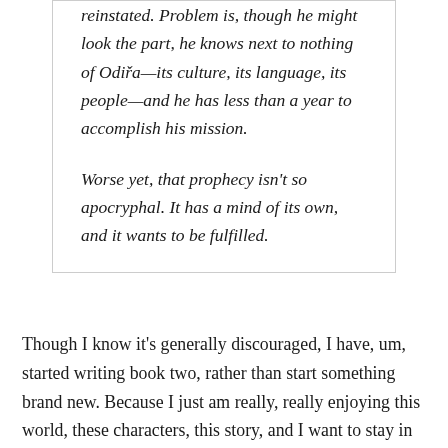reinstated. Problem is, though he might look the part, he knows next to nothing of Odiřa—its culture, its language, its people—and he has less than a year to accomplish his mission.

Worse yet, that prophecy isn't so apocryphal. It has a mind of its own, and it wants to be fulfilled.
Though I know it's generally discouraged, I have, um, started writing book two, rather than start something brand new. Because I just am really, really enjoying this world, these characters, this story, and I want to stay in